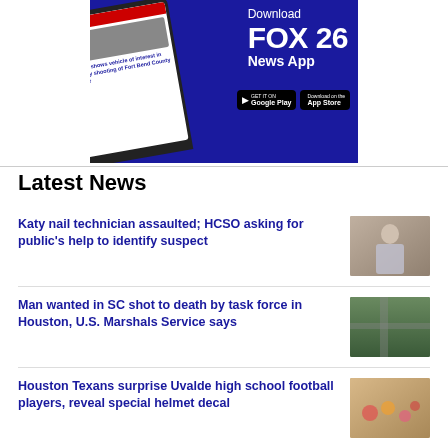[Figure (photo): FOX 26 News App advertisement banner with blue background, showing a smartphone displaying news stories and text 'Download FOX 26 News App' with Google Play and App Store download buttons]
Latest News
Katy nail technician assaulted; HCSO asking for public's help to identify suspect
[Figure (photo): Photo of a woman standing indoors]
Man wanted in SC shot to death by task force in Houston, U.S. Marshals Service says
[Figure (photo): Aerial photo of a street scene]
Houston Texans surprise Uvalde high school football players, reveal special helmet decal
[Figure (photo): Photo of flowers or memorial items]